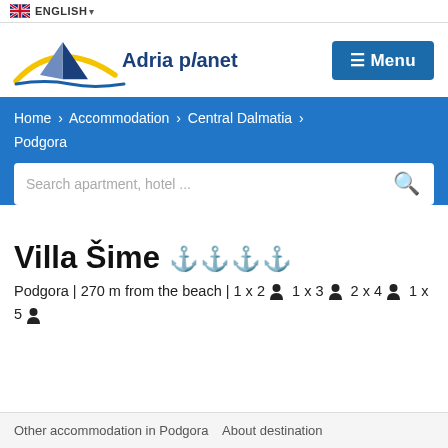ENGLISH
[Figure (logo): Adria Planet logo with sailboat and yellow arc]
☰ Menu
Home › Accommodation › Central Dalmatia › Podgora
Search apartment, hotel ...
Villa Šime ⚓⚓⚓
Podgora | 270 m from the beach | 1 x 2 👤 1 x 3 👤 2 x 4 👤 1 x 5 👤
Other accommodation in Podgora  About destination